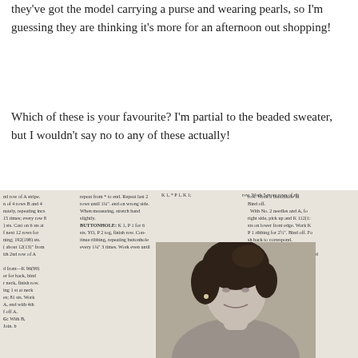they've got the model carrying a purse and wearing pearls, so I'm guessing they are thinking it's more for an afternoon out shopping!
Which of these is your favourite? I'm partial to the beaded sweater, but I wouldn't say no to any of these actually!
[Figure (photo): A vintage knitting pattern page photographed at an angle, showing columns of knitting instructions text including sections labeled BUTTONHOLE and FINISHING, with a black and white photo of a woman with dark curled hair visible in the lower right portion of the image.]